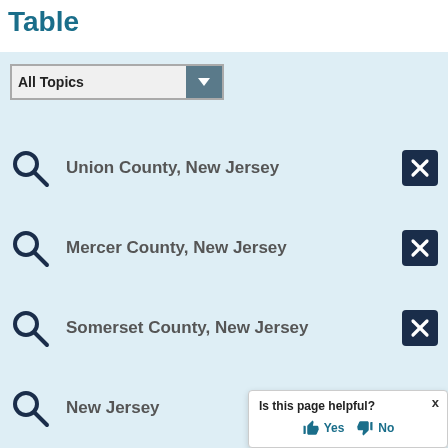Table
[Figure (screenshot): Dropdown selector showing 'All Topics']
Union County, New Jersey
Mercer County, New Jersey
Somerset County, New Jersey
New Jersey
Is this page helpful? Yes No